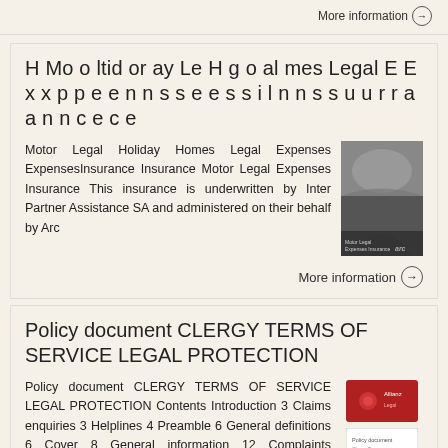More information →
H Mo o ltid or ay Le H g o al mes Legal E E x x p p e e n n s s e e s s i l n n s s u u r r a a n n c e c e
Motor Legal Holiday Homes Legal Expenses ExpensesInsurance Insurance Motor Legal Expenses Insurance This insurance is underwritten by Inter Partner Assistance SA and administered on their behalf by Arc
[Figure (photo): Black and white photo of a road with trees, Arc insurance branding at bottom]
More information →
Policy document CLERGY TERMS OF SERVICE LEGAL PROTECTION
Policy document CLERGY TERMS OF SERVICE LEGAL PROTECTION Contents Introduction 3 Claims enquiries 3 Helplines 4 Preamble 6 General definitions 6 Cover 8 General information 12 Complaints procedure 12 The
[Figure (illustration): Red branded document thumbnail and white document thumbnail with scroll-to-top button]